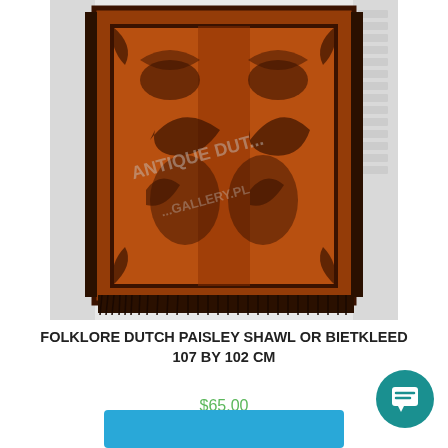[Figure (photo): A brown and black folklore Dutch paisley shawl or bietkleed with intricate paisley patterns and black fringe edges, hanging against a white brick wall. A faint watermark reads 'ANTIQUE DUTCH...' across the image.]
FOLKLORE DUTCH PAISLEY SHAWL OR BIETKLEED 107 BY 102 CM
$65.00